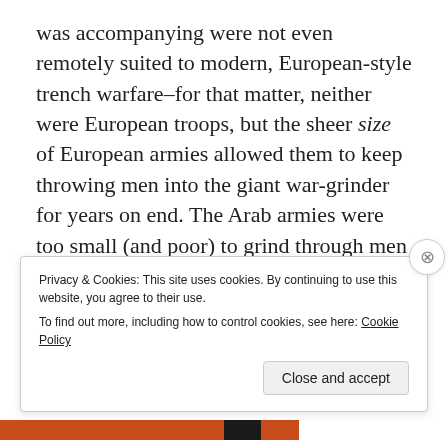was accompanying were not even remotely suited to modern, European-style trench warfare–for that matter, neither were European troops, but the sheer size of European armies allowed them to keep throwing men into the giant war-grinder for years on end. The Arab armies were too small (and poor) to grind through men and materials in this way; if they tried to face the Turks in head-to-head combat, they would run out of men and collapse.
Privacy & Cookies: This site uses cookies. By continuing to use this website, you agree to their use.
To find out more, including how to control cookies, see here: Cookie Policy
Close and accept